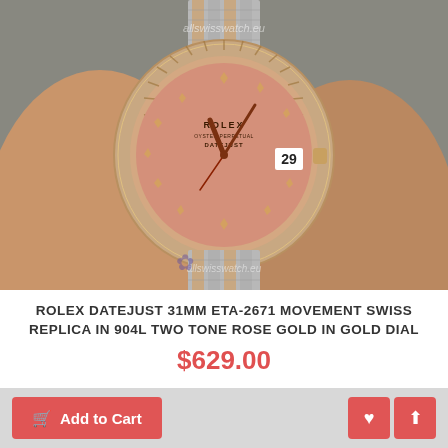[Figure (photo): A Rolex Datejust 31mm watch with rose gold and two-tone jubilee bracelet, pink dial with diamond hour markers, fluted bezel, and date display showing 29, held in a hand. Watermark reads allswisswatch.eu.]
ROLEX DATEJUST 31MM ETA-2671 MOVEMENT SWISS REPLICA IN 904L TWO TONE ROSE GOLD IN GOLD DIAL
$629.00
Add to Cart